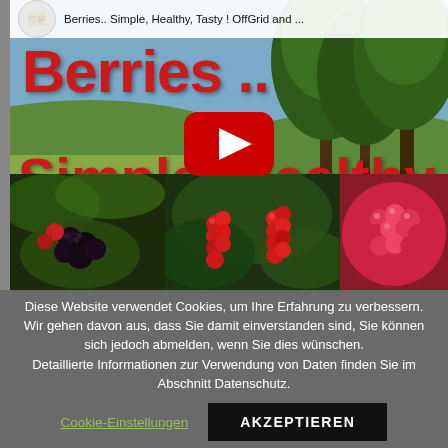[Figure (screenshot): YouTube video thumbnail showing 'Berries.. Simple, Healthy, Tasty! OffGrid and...' with large red bold text 'Berries ..' and 'Simple, Healthy, T' overlaid on a landscape background with trees, a YouTube play button in the center-right area, and a strip of three berry photos at the bottom (blackberries, red currants, raspberries)]
Diese Website verwendet Cookies, um Ihre Erfahrung zu verbessern. Wir gehen davon aus, dass Sie damit einverstanden sind, Sie können sich jedoch abmelden, wenn Sie dies wünschen. Detaillierte Informationen zur Verwendung von Daten finden Sie im Abschnitt Datenschutz.
Cookie-Einstellungen
AKZEPTIEREN